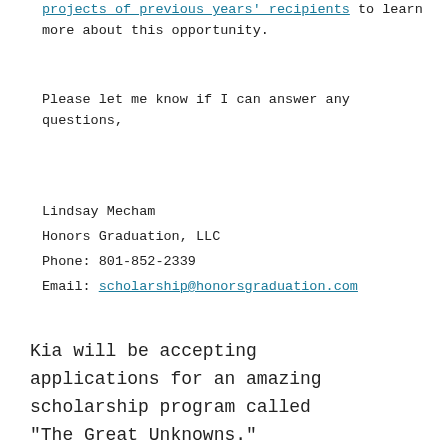projects of previous years' recipients to learn more about this opportunity.
Please let me know if I can answer any questions,
Lindsay Mecham
Honors Graduation, LLC
Phone: 801-852-2339
Email: scholarship@honorsgraduation.com
Kia will be accepting applications for an amazing scholarship program called "The Great Unknowns."
The program targets high